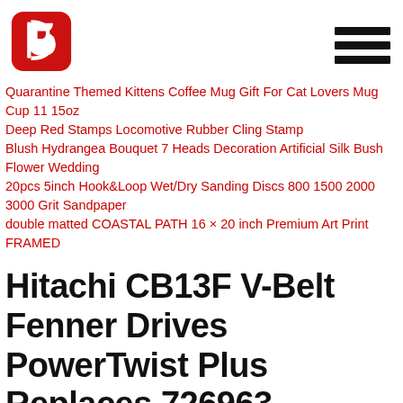[Figure (logo): Red rounded square logo with a white stylized 'B' or bookmark icon inside]
[Figure (other): Hamburger menu icon — three horizontal black bars]
Quarantine Themed Kittens Coffee Mug Gift For Cat Lovers Mug Cup 11 15oz
Deep Red Stamps Locomotive Rubber Cling Stamp
Blush Hydrangea Bouquet 7 Heads Decoration Artificial Silk Bush Flower Wedding
20pcs 5inch Hook&Loop Wet/Dry Sanding Discs 800 1500 2000 3000 Grit Sandpaper
double matted COASTAL PATH 16 × 20 inch Premium Art Print FRAMED
Hitachi CB13F V-Belt Fenner Drives PowerTwist Plus Replaces 726963